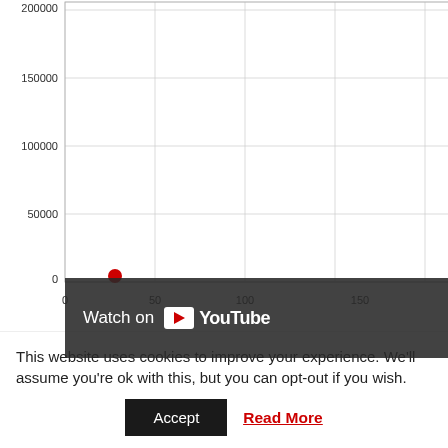[Figure (continuous-plot): Scatter/animation chart showing number of galaxies observable as a function of distance in Mpc, with y-axis 0-200000 and x-axis 0-200 Mpc. One red data point visible near (20, 0). Red button labeled '9 500' top right. Side axis labels partially visible (numbers 125, 175, 200). Label 'Bas' partially visible. YouTube overlay on chart.]
The animation shows the number of galaxies observable by Advanced Virgo as a function of their distance from the Earth, at different stages of... given both in units of millions of light years (Mly) and Millions of parsecs in astrophysics. The sensitivity of Advanced Virgo is given in terms of the average distance at which the merger of a Binary Neutron Star... of 8 in Advanced Virgo with the current sensitivity; the distance... binary orientations. Each neutron star in the binary system is a...
This website uses cookies to improve your experience. We'll assume you're ok with this, but you can opt-out if you wish.